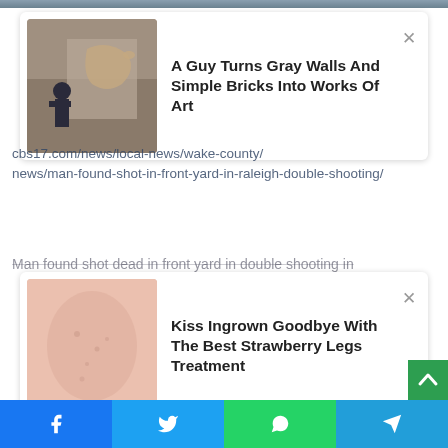[Figure (photo): Top image strip showing a partial scene (mountain or landscape)]
[Figure (infographic): Ad card: A Guy Turns Gray Walls And Simple Bricks Into Works Of Art, with thumbnail of person doing street art]
cbs17.com/news/local-news/wake-county/news/man-found-shot-in-front-yard-in-raleigh-double-shooting/
Man found shot dead in front yard in double shooting in
[Figure (infographic): Ad card: Kiss Ingrown Goodbye With The Best Strawberry Legs Treatment, with thumbnail of skin]
[Figure (other): Scroll to top green button with up arrow]
[Figure (other): Bottom social share bar with Facebook, Twitter, WhatsApp, and Telegram icons]